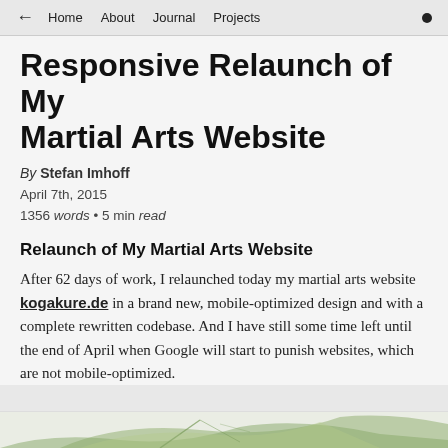← Home About Journal Projects
Responsive Relaunch of My Martial Arts Website
By Stefan Imhoff
April 7th, 2015
1356 words • 5 min read
Relaunch of My Martial Arts Website
After 62 days of work, I relaunched today my martial arts website kogakure.de in a brand new, mobile-optimized design and with a complete rewritten codebase. And I have still some time left until the end of April when Google will start to punish websites, which are not mobile-optimized.
[Figure (photo): Partial view of a leaf or plant image at the bottom of the page]